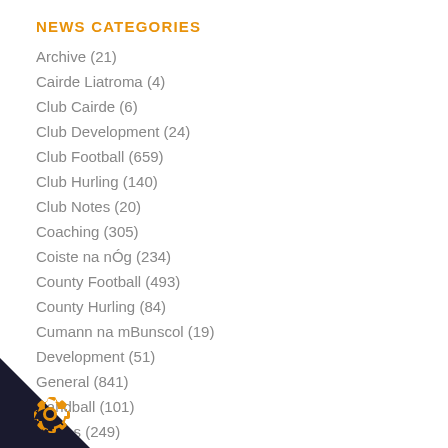NEWS CATEGORIES
Archive (21)
Cairde Liatroma (4)
Club Cairde (6)
Club Development (24)
Club Football (659)
Club Hurling (140)
Club Notes (20)
Coaching (305)
Coiste na nÓg (234)
County Football (493)
County Hurling (84)
Cumann na mBunscol (19)
Development (51)
General (841)
Handball (101)
(249)